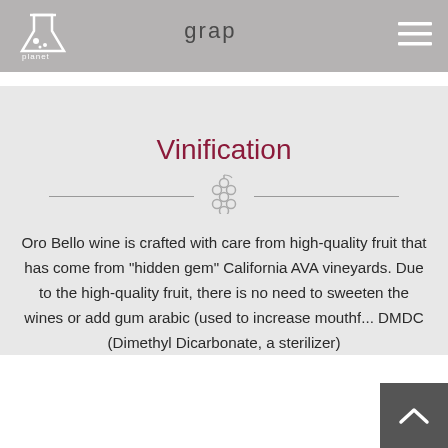grapes
Vinification
Oro Bello wine is crafted with care from high-quality fruit that has come from “hidden gem” California AVA vineyards. Due to the high-quality fruit, there is no need to sweeten the wines or add gum arabic (used to increase mouthf... DMDC (Dimethyl Dicarbonate, a sterilizer)...